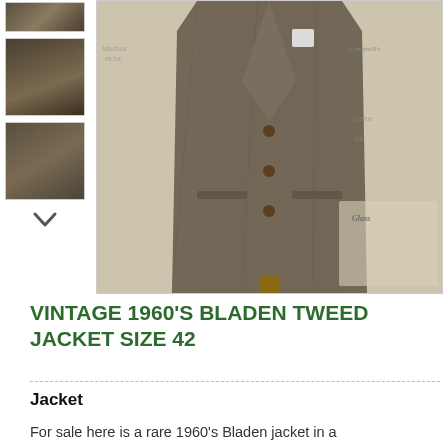[Figure (photo): Thumbnail 1: top partial view of a tweed jacket on mannequin]
[Figure (photo): Thumbnail 2: back view of a vintage tweed jacket]
[Figure (photo): Thumbnail 3: side/label view of the tweed jacket]
[Figure (photo): Main product photo: Vintage 1960s Bladen tweed jacket displayed on a mannequin against a vintage newspaper background]
VINTAGE 1960'S BLADEN TWEED JACKET SIZE 42
Jacket
For sale here is a rare 1960's Bladen jacket in a